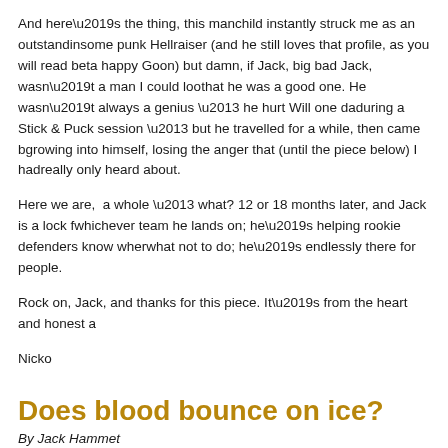And here’s the thing, this manchild instantly struck me as an outstanding person some punk Hellraiser (and he still loves that profile, as you will read below, he’s a happy Goon) but damn, if Jack, big bad Jack, wasn’t a man I could look at and know that he was a good one. He wasn’t always a genius – he hurt Will one day during a Stick & Puck session – but he travelled for a while, then came back growing into himself, losing the anger that (until the piece below) I had really only heard about.
Here we are, a whole – what? 12 or 18 months later, and Jack is a lock for whichever team he lands on; he’s helping rookie defenders know where and what not to do; he’s endlessly there for people.
Rock on, Jack, and thanks for this piece. It’s from the heart and honest a
Nicko
Does blood bounce on ice?
By Jack Hammet
I hate to start this on a depressing note but bear with me, it’s not all sad explaining my story and unwavering love for hockey…